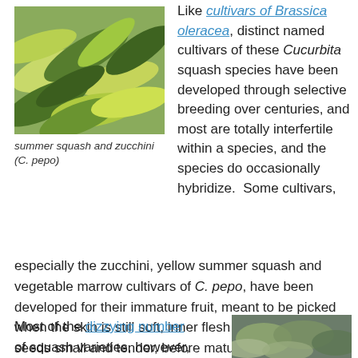[Figure (photo): Pile of summer squash and zucchini vegetables, green and yellow]
summer squash and zucchini (C. pepo)
Like cultivars of Brassica oleracea, distinct named cultivars of these Cucurbita squash species have been developed through selective breeding over centuries, and most are totally interfertile within a species, and the species do occasionally hybridize.  Some cultivars, especially the zucchini, yellow summer squash and vegetable marrow cultivars of C. pepo, have been developed for their immature fruit, meant to be picked when the skin is still soft, inner flesh still firm, and seeds small and tender, before maturation of the hard outer shell and hollow interior full of stringy endocarp.
Most of the dizzying number of squash varieties, however, have
[Figure (photo): Close-up of squash or gourd vegetables, muted blue-green tones]